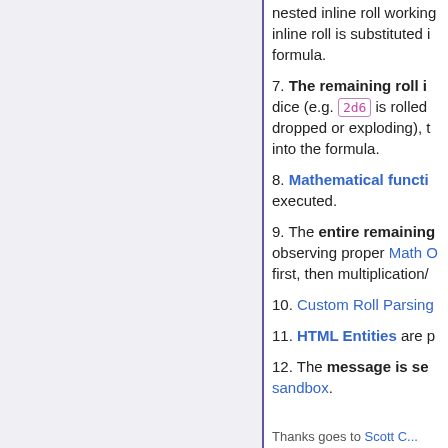nested inline roll working inline roll is substituted i formula.
7. The remaining roll is dice (e.g. 2d6 is rolled dropped or exploding), t into the formula.
8. Mathematical functi executed.
9. The entire remaining observing proper Math O first, then multiplication/
10. Custom Roll Parsing
11. HTML Entities are p
12. The message is se sandbox.
Thanks goes to Scott C...